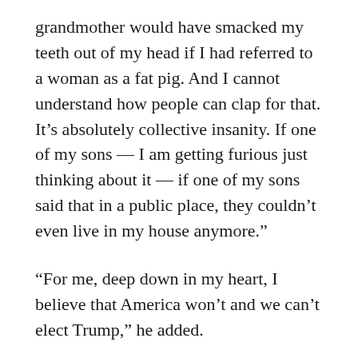grandmother would have smacked my teeth out of my head if I had referred to a woman as a fat pig. And I cannot understand how people can clap for that. It’s absolutely collective insanity. If one of my sons — I am getting furious just thinking about it — if one of my sons said that in a public place, they couldn’t even live in my house anymore.”
“For me, deep down in my heart, I believe that America won’t and we can’t elect Trump,” he added.
But Smith’s streak of outspokenness hasn’t just been limited to the presidential race. During an appearance earlier this month (August, 2016) on “The Tonight Show Starring Jimmy Fallon,” the actor spoke with a